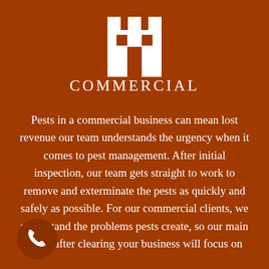[Figure (illustration): White building/castle icon on orange-brown background]
COMMERCIAL
Pests in a commercial business can mean lost revenue our team understands the urgency when it comes to pest management. After initial inspection, our team gets straight to work to remove and exterminate the pests as quickly and safely as possible. For our commercial clients, we understand the problems pests create, so our main focus after clearing your business will focus on
[Figure (illustration): White telephone/phone icon on darker orange circular background, bottom left corner]